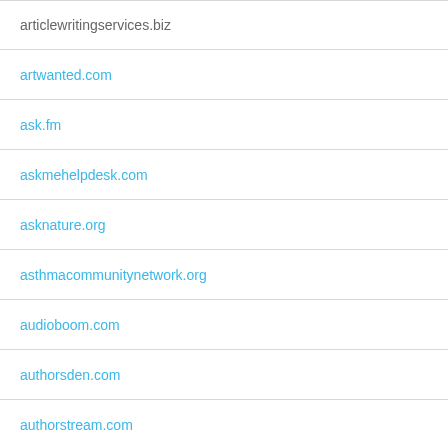articlewritingservices.biz
artwanted.com
ask.fm
askmehelpdesk.com
asknature.org
asthmacommunitynetwork.org
audioboom.com
authorsden.com
authorstream.com